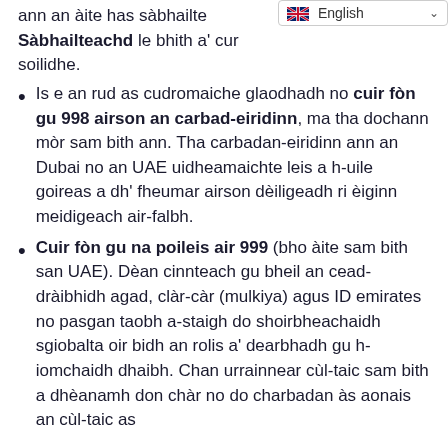[Figure (other): English language selector badge with UK flag and dropdown arrow in top right corner]
ann an àite has sàbhailte... Sàbhailteachd le bhith a' cur soilidhe.
Is e an rud as cudromaiche glaodhadh no cuir fòn gu 998 airson an carbad-eiridinn, ma tha dochann mòr sam bith ann. Tha carbadan-eiridinn ann an Dubai no an UAE uidheamaichte leis a h-uile goireas a dh' fheumar airson dèiligeadh ri èiginn meidigeach air-falbh.
Cuir fòn gu na poileis air 999 (bho àite sam bith san UAE). Dèan cinnteach gu bheil an cead-dràibhidh agad, clàr-càr (mulkiya) agus ID emirates no pasgan taobh a-staigh do shoirbheachaidh sgiobalta oir bidh an rolis a' dearbhadh gu h-iomchaidh dhaibh. Chan urrainnear cùl-taic sam bith a dhèanamh don chàr no do charbadan às aonais an cùl-taic as